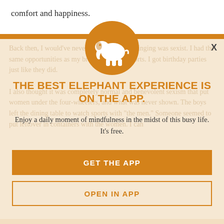comfort and happiness.
[Figure (illustration): Elephant app modal overlay with orange elephant logo in a circle, headline, subtext, and two buttons]
THE BEST ELEPHANT EXPERIENCE IS ON THE APP.
Enjoy a daily moment of mindfulness in the midst of this busy life. It's free.
GET THE APP
OPEN IN APP